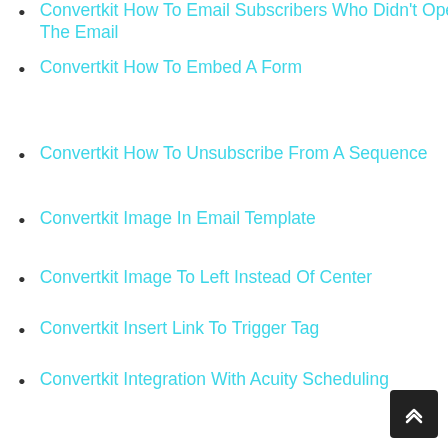Convertkit How To Email Subscribers Who Didn't Open The Email
Convertkit How To Embed A Form
Convertkit How To Unsubscribe From A Sequence
Convertkit Image In Email Template
Convertkit Image To Left Instead Of Center
Convertkit Insert Link To Trigger Tag
Convertkit Integration With Acuity Scheduling
Convertkit Landing Page Challenge Videos
Convertkit Landing Page, Changing Font